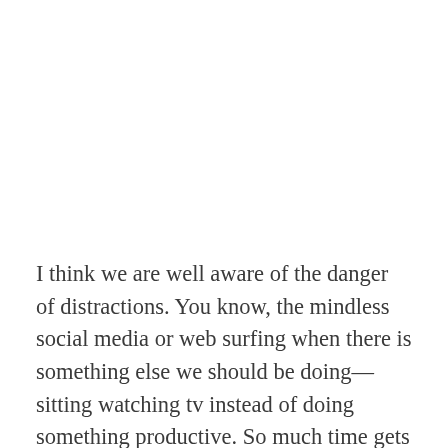I think we are well aware of the danger of distractions. You know, the mindless social media or web surfing when there is something else we should be doing—sitting watching tv instead of doing something productive. So much time gets lost to distraction. But is productive or distracting